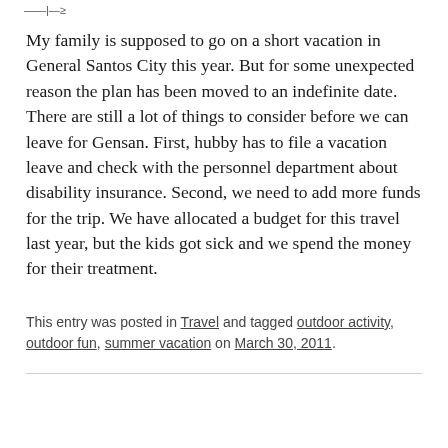——|—≥
My family is supposed to go on a short vacation in General Santos City this year. But for some unexpected reason the plan has been moved to an indefinite date. There are still a lot of things to consider before we can leave for Gensan. First, hubby has to file a vacation leave and check with the personnel department about disability insurance. Second, we need to add more funds for the trip. We have allocated a budget for this travel last year, but the kids got sick and we spend the money for their treatment.
This entry was posted in Travel and tagged outdoor activity, outdoor fun, summer vacation on March 30, 2011.